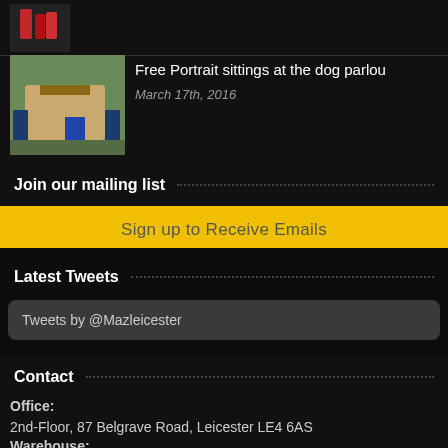[Figure (photo): Partial view of top image with red figures on dark background]
[Figure (photo): Thumbnail of a building/dog parlour exterior]
Free Portrait sittings at the dog parlou
March 17th, 2016
Join our mailing list
Sign up to Receive Emails
Latest Tweets
Tweets by @Mazleicester
Contact
Office:
2nd-Floor, 87 Belgrave Road, Leicester LE4 6AS
Warehouse: